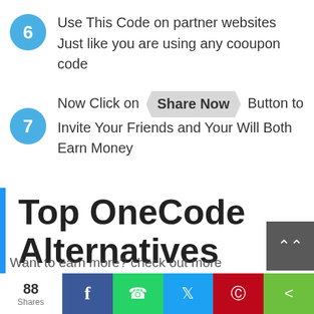6  Use This Code on partner websites Just like you are using any cooupon code
7  Now Click on Share Now Button to Invite Your Friends and Your Will Both Earn Money
Top OneCode Alternatives
Want to earn more? check out more
88 Shares  [Facebook] [WhatsApp] [Twitter] [Pinterest] [Share]